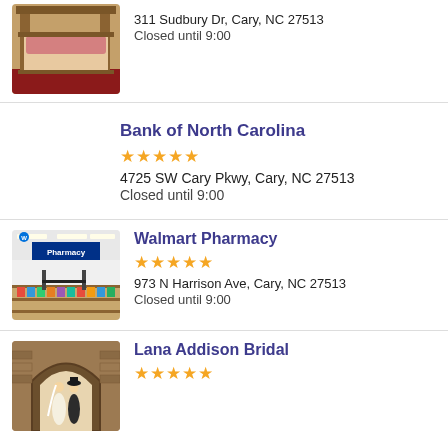[Figure (photo): Wooden bed frame furniture in a store setting]
311 Sudbury Dr, Cary, NC 27513
Closed until 9:00
Bank of North Carolina
★★★★★
4725 SW Cary Pkwy, Cary, NC 27513
Closed until 9:00
[Figure (photo): Walmart Pharmacy interior with pharmacy sign and store aisles]
Walmart Pharmacy
★★★★★
973 N Harrison Ave, Cary, NC 27513
Closed until 9:00
[Figure (photo): Lana Addison Bridal storefront with couple in wedding attire]
Lana Addison Bridal
★★★★★